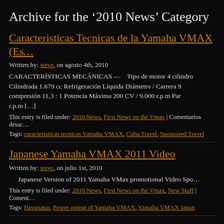Archive for the '2010 News' Category
Caracteristicas Tecnicas de la Yamaha VMAX (Es…
Written by: steve, on agosto 4th, 2010
CARACTERÍSTICAS MECÁNICAS — Tipo de motor 4 cilindro… Cilindrada 1.679 cc Refrigeración Líquida Diámetro / Carrera 9… compresión 11,3 : 1 Potencia Máxima 200 CV / 9.000 r.p.m Par… r.p.m […]
This entry is filed under: 2010 News, First News on the Vmax | Comentarios desac…
Tags: caracteristicas tecnicas Yamaha VMAX, Cuba Travel, Sponsored Travel
Japanese Yamaha VMAX 2011 Video
Written by: steve, on julio 1st, 2010
Japanese Version of 2011 Yamaha VMax promotional Video Spo…
This entry is filed under: 2010 News, First News on the Vmax, New Stuff | Coment…
Tags: Havanatur, Power output of Yamaha VMAX, Yamaha VMAX Japan
Yamaha VMax 2011 Video…